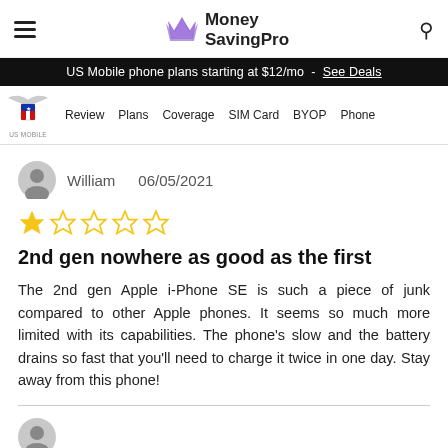Money SavingPro
US Mobile phone plans starting at $12/mo - See Deals
[Figure (logo): US Mobile logo with eagle wings and US flag shield, navigation links: Review, Plans, Coverage, SIM Card, BYOP, Phone]
William   06/05/2021
[Figure (other): 1 out of 5 stars rating: one filled gold star and four empty stars]
2nd gen nowhere as good as the first
The 2nd gen Apple i-Phone SE is such a piece of junk compared to other Apple phones. It seems so much more limited with its capabilities. The phone's slow and the battery drains so fast that you'll need to charge it twice in one day. Stay away from this phone!